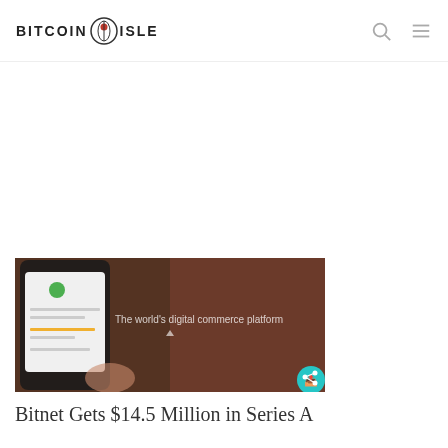BITCOIN ISLE
[Figure (screenshot): A hand holding a smartphone showing a Bitcoin/digital payment app screen with text 'The world's digital commerce platform' overlaid on a dark brown background]
Bitnet Gets $14.5 Million in Series A